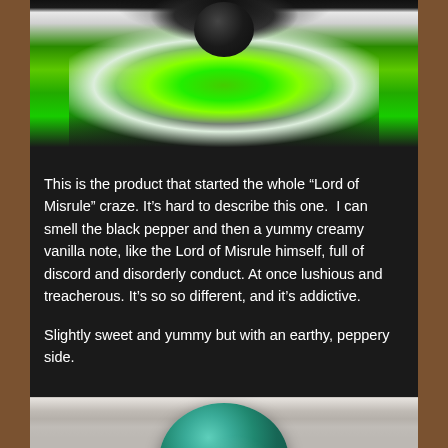[Figure (photo): Close-up photo of a dark bath bomb with bright green powder/color explosion on a white/grey surface]
This is the product that started the whole “Lord of Misrule” craze. It’s hard to describe this one.  I can smell the black pepper and then a yummy creamy vanilla note, like the Lord of Misrule himself, full of discord and disorderly conduct. At once lushious and treacherous. It’s so so different, and it’s addictive.
Slightly sweet and yummy but with an earthy, peppery side.
[Figure (photo): Close-up photo of a teal/green glittery bath bomb on a beige/cream surface]